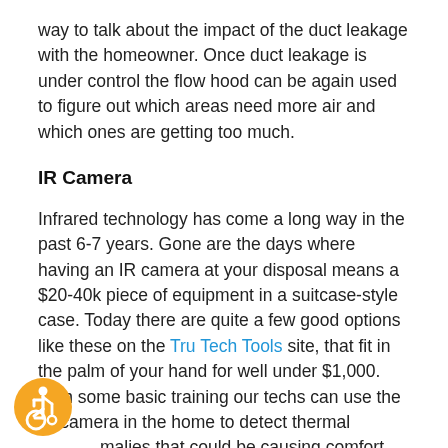way to talk about the impact of the duct leakage with the homeowner. Once duct leakage is under control the flow hood can be again used to figure out which areas need more air and which ones are getting too much.
IR Camera
Infrared technology has come a long way in the past 6-7 years. Gone are the days where having an IR camera at your disposal means a $20-40k piece of equipment in a suitcase-style case. Today there are quite a few good options like these on the Tru Tech Tools site, that fit in the palm of your hand for well under $1,000. With some basic training our techs can use the IR camera in the home to detect thermal anomalies that could be causing comfort issues and warrant further investigation. A quick thermal scan often quickly leads to the discovery of things like
[Figure (illustration): Accessibility icon — orange circle with white wheelchair user symbol]